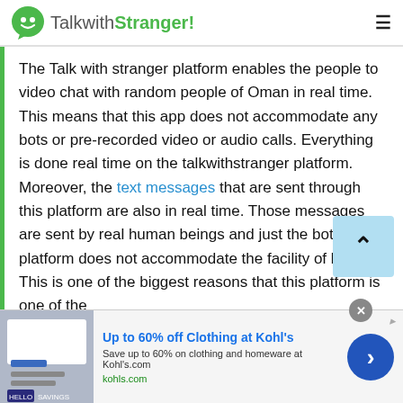TalkwithStranger!
The Talk with stranger platform enables the people to video chat with random people of Oman in real time. This means that this app does not accommodate any bots or pre-recorded video or audio calls. Everything is done real time on the talkwithstranger platform. Moreover, the text messages that are sent through this platform are also in real time. Those messages are sent by real human beings and just the bots. This platform does not accommodate the facility of bots. This is one of the biggest reasons that this platform is one of the
[Figure (screenshot): Advertisement banner for Kohl's: Up to 60% off Clothing at Kohl's. Save up to 60% on clothing and homeware at Kohls.com. kohls.com]